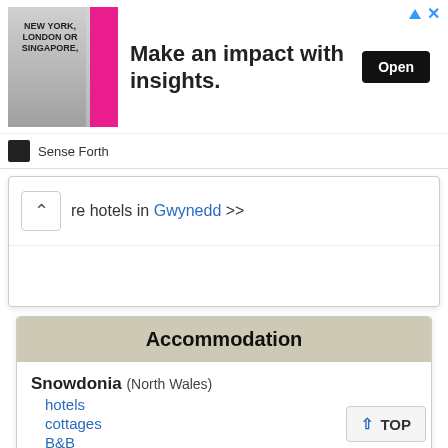[Figure (screenshot): Advertisement banner: image of a man in a suit with text 'NEW YORK, LONDON OR SINGAPORE,' on left, 'Make an impact with insights.' in center, 'Open' button on right, with 'Sense Forth' branding below.]
re hotels in Gwynedd >>
Accommodation
Snowdonia (North Wales)
hotels
cottages
B&B
Pembrokeshire (West Wales)
hotels